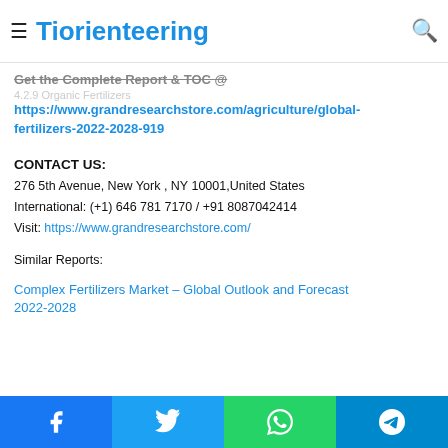Tiorienteering
Get the Complete Report & TOC @
https://www.grandresearchstore.com/agriculture/global-fertilizers-2022-2028-919
CONTACT US:
276 5th Avenue, New York , NY 10001,United States
International: (+1) 646 781 7170 / +91 8087042414
Visit: https://www.grandresearchstore.com/
Similar Reports:
Complex Fertilizers Market – Global Outlook and Forecast 2022-2028